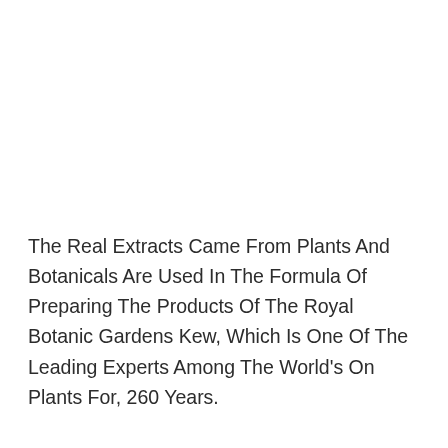The Real Extracts Came From Plants And Botanicals Are Used In The Formula Of Preparing The Products Of The Royal Botanic Gardens Kew, Which Is One Of The Leading Experts Among The World's On Plants For, 260 Years.